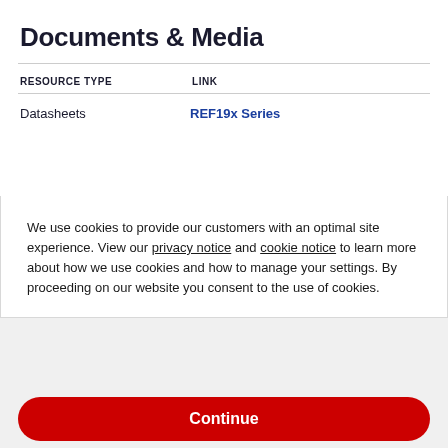Documents & Media
| RESOURCE TYPE | LINK |
| --- | --- |
| Datasheets | REF19x Series |
We use cookies to provide our customers with an optimal site experience. View our privacy notice and cookie notice to learn more about how we use cookies and how to manage your settings. By proceeding on our website you consent to the use of cookies.
Continue
Exit
Privacy Notice